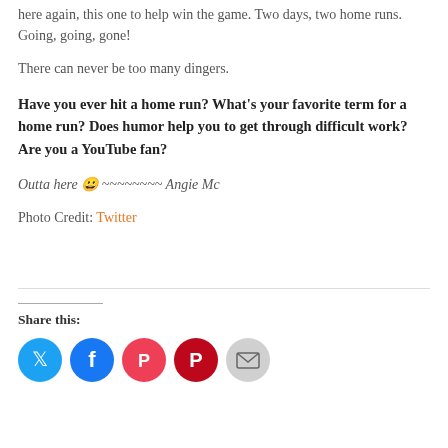here again, this one to help win the game. Two days, two home runs. Going, going, gone!
There can never be too many dingers.
Have you ever hit a home run? What's your favorite term for a home run? Does humor help you to get through difficult work? Are you a YouTube fan?
Outta here 😀 ~~~~~~~~ Angie Mc
Photo Credit: Twitter
Share this: